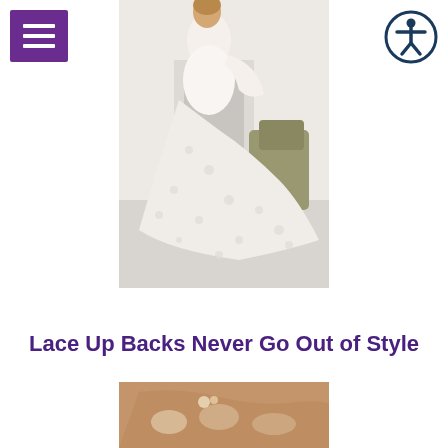[Figure (logo): Purple hamburger menu button with three white horizontal bars]
[Figure (logo): Accessibility icon: circular dark blue border with white human figure silhouette]
[Figure (photo): Bride in a white lace long-sleeve gown with a deep V open back and an elaborate floral lace cathedral train, posing in a bright white room with a vintage green chair]
Lace Up Backs Never Go Out of Style
[Figure (photo): Partial view of bride's back showing a lace-up corset back wedding dress detail with floral accents]